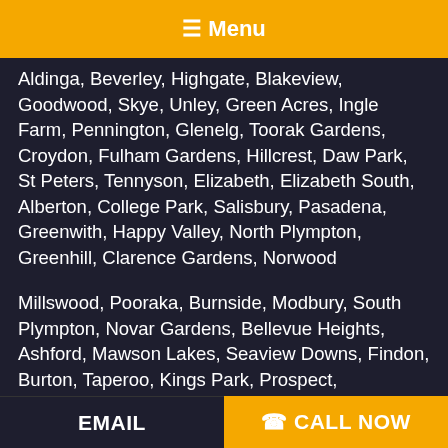☰ Menu
Aldinga, Beverley, Highgate, Blakeview, Goodwood, Skye, Unley, Green Acres, Ingle Farm, Pennington, Glenelg, Toorak Gardens, Croydon, Fulham Gardens, Hillcrest, Daw Park, St Peters, Tennyson, Elizabeth, Elizabeth South, Alberton, College Park, Salisbury, Pasadena, Greenwith, Happy Valley, North Plympton, Greenhill, Clarence Gardens, Norwood
Millswood, Pooraka, Burnside, Modbury, South Plympton, Novar Gardens, Bellevue Heights, Ashford, Mawson Lakes, Seaview Downs, Findon, Burton, Taperoo, Kings Park, Prospect, Birkenhead, Grange, Virginia, Paralowie, West Lakes, Windsor Gardens, Aldinga, Parafield, Henley Beach,
EMAIL   ☎ CALL NOW